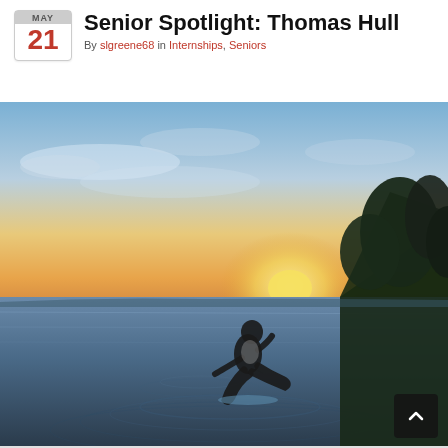Senior Spotlight: Thomas Hull
By slgreene68 in Internships, Seniors
[Figure (photo): A person silhouetted against a sunset sky, leaping or running through shallow lake water, with trees visible on the right bank and calm water reflections. Taken in a wide-angle outdoor setting.]